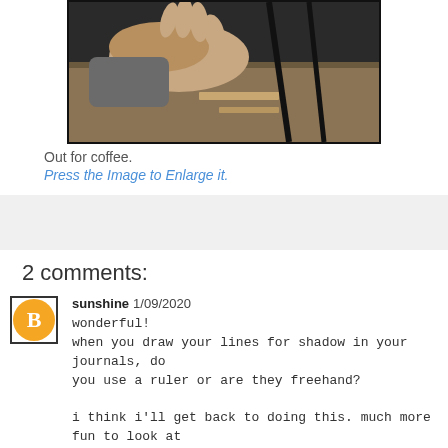[Figure (photo): A photo showing a hand and a table surface, taken at a coffee shop setting.]
Out for coffee.
Press the Image to Enlarge it.
2 comments:
sunshine 1/09/2020
wonderful!
when you draw your lines for shadow in your journals, do you use a ruler or are they freehand?

i think i'll get back to doing this. much more fun to look at than photos!
thanks!